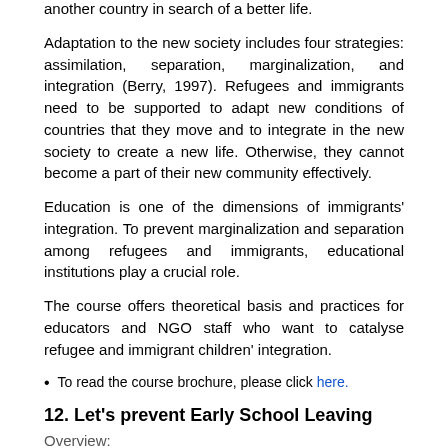another country in search of a better life.
Adaptation to the new society includes four strategies: assimilation, separation, marginalization, and integration (Berry, 1997). Refugees and immigrants need to be supported to adapt new conditions of countries that they move and to integrate in the new society to create a new life. Otherwise, they cannot become a part of their new community effectively.
Education is one of the dimensions of immigrants' integration. To prevent marginalization and separation among refugees and immigrants, educational institutions play a crucial role.
The course offers theoretical basis and practices for educators and NGO staff who want to catalyse refugee and immigrant children' integration.
To read the course brochure, please click here.
12. Let's prevent Early School Leaving
Overview:
Early School Leaving (ESL) is a result of a long process rather than sudden phenomena. Factors derived from